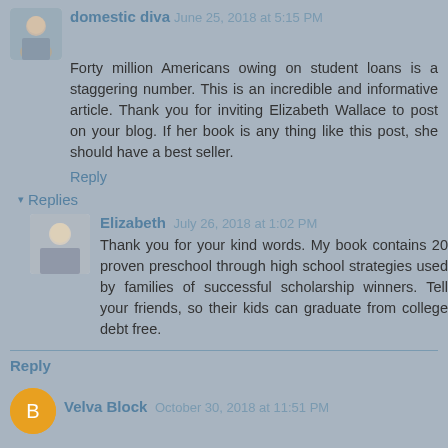domestic diva June 25, 2018 at 5:15 PM
Forty million Americans owing on student loans is a staggering number. This is an incredible and informative article. Thank you for inviting Elizabeth Wallace to post on your blog. If her book is any thing like this post, she should have a best seller.
Reply
Replies
Elizabeth July 26, 2018 at 1:02 PM
Thank you for your kind words. My book contains 20 proven preschool through high school strategies used by families of successful scholarship winners. Tell your friends, so their kids can graduate from college debt free.
Reply
Velva Block October 30, 2018 at 11:51 PM